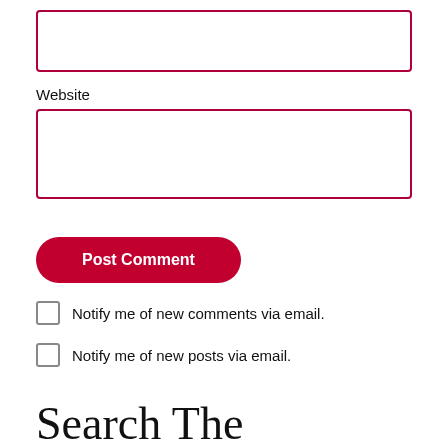[Figure (screenshot): Empty text input field with red border]
Website
[Figure (screenshot): Empty website input field with red border]
Post Comment
Notify me of new comments via email.
Notify me of new posts via email.
Search The Thankful Revolution